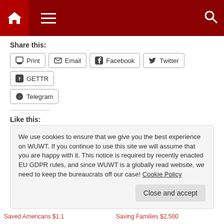[Figure (screenshot): Website navigation bar with dark red background, home icon, hamburger menu, and search icon]
Share this:
[Figure (screenshot): Share buttons row: Print, Email, Facebook, Twitter, GETTR, Telegram]
Like this:
Loading...
We use cookies to ensure that we give you the best experience on WUWT. If you continue to use this site we will assume that you are happy with it. This notice is required by recently enacted EU GDPR rules, and since WUWT is a globally read website, we need to keep the bureaucrats off our case! Cookie Policy
Close and accept
Saved Americans $1.1
Saving Families $2,500